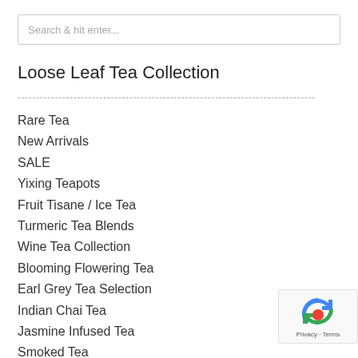Search & hit enter...
Loose Leaf Tea Collection
Rare Tea
New Arrivals
SALE
Yixing Teapots
Fruit Tisane / Ice Tea
Turmeric Tea Blends
Wine Tea Collection
Blooming Flowering Tea
Earl Grey Tea Selection
Indian Chai Tea
Jasmine Infused Tea
Smoked Tea
Organic Tea